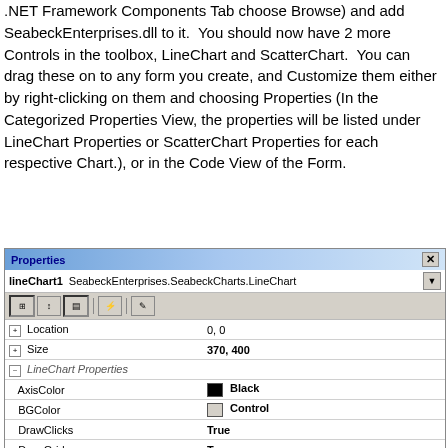.NET Framework Components Tab choose Browse) and add SeabeckEnterprises.dll to it.  You should now have 2 more Controls in the toolbox, LineChart and ScatterChart.  You can drag these on to any form you create, and Customize them either by right-clicking on them and choosing Properties (In the Categorized Properties View, the properties will be listed under LineChart Properties or ScatterChart Properties for each respective Chart.), or in the Code View of the Form.
[Figure (screenshot): Visual Studio Properties panel showing lineChart1 SeabeckEnterprises.SeabeckCharts.LineChart with properties including Location (0,0), Size (370,400), LineChart Properties section with AxisColor (Black), BGColor (Control), DrawClicks (True), DrawGrid (True), DrawLegend (True), LegendAlpha (255), LegendBG (Control), LegendSizeX (65), LegPosition (NW) highlighted, SubTitle (LineChart), SubTitleColor (Black), Title (Sine vs. Cosine)]